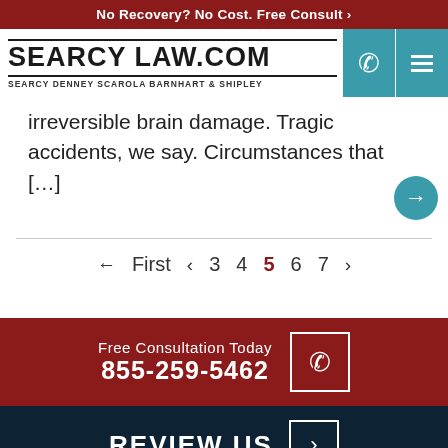No Recovery? No Cost. Free Consult ›
[Figure (logo): Searcy Law.com logo with text SEARCY DENNEY SCAROLA BARNHART & SHIPLEY, teal phone icon and hamburger menu icon]
irreversible brain damage. Tragic accidents, we say. Circumstances that […]
← First ‹ 3 4 5 6 7 ›
Free Consultation Today
855-259-5462
REVIEW US ›